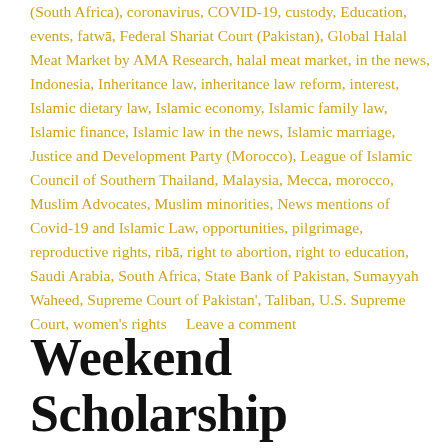(South Africa), coronavirus, COVID-19, custody, Education, events, fatwā, Federal Shariat Court (Pakistan), Global Halal Meat Market by AMA Research, halal meat market, in the news, Indonesia, Inheritance law, inheritance law reform, interest, Islamic dietary law, Islamic economy, Islamic family law, Islamic finance, Islamic law in the news, Islamic marriage, Justice and Development Party (Morocco), League of Islamic Council of Southern Thailand, Malaysia, Mecca, morocco, Muslim Advocates, Muslim minorities, News mentions of Covid-19 and Islamic Law, opportunities, pilgrimage, reproductive rights, ribā, right to abortion, right to education, Saudi Arabia, South Africa, State Bank of Pakistan, Sumayyah Waheed, Supreme Court of Pakistan', Taliban, U.S. Supreme Court, women's rights    Leave a comment
Weekend Scholarship Roundup